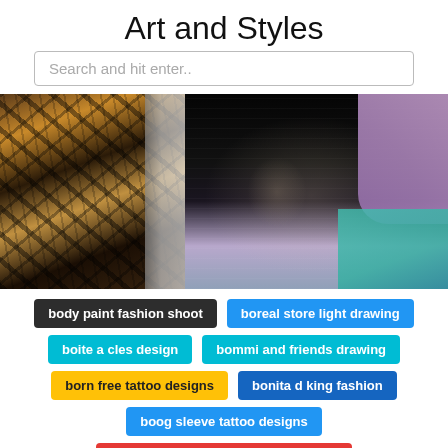Art and Styles
Search and hit enter..
[Figure (photo): Two tattoo photos side by side: left shows a tribal tattoo on a dark-skinned arm, right shows a detailed black-and-grey sleeve tattoo with clock imagery on a person wearing a purple and teal outfit.]
body paint fashion shoot
boreal store light drawing
boite a cles design
bommi and friends drawing
born free tattoo designs
bonita d king fashion
boog sleeve tattoo designs
boneface ink tattoo studio pensacola
bone fish tattoo designs